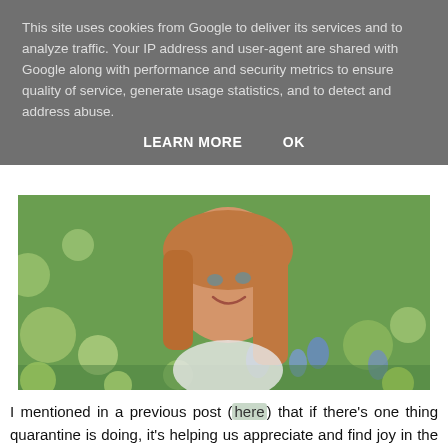This site uses cookies from Google to deliver its services and to analyze traffic. Your IP address and user-agent are shared with Google along with performance and security metrics to ensure quality of service, generate usage statistics, and to detect and address abuse.
LEARN MORE    OK
[Figure (photo): A smiling young woman with long reddish-blonde hair lying in a field of green grass and blue flowers, looking at the camera.]
I mentioned in a previous post (here) that if there's one thing quarantine is doing, it's helping us appreciate and find joy in the simple things in life. It's also a difficult time for many (if not